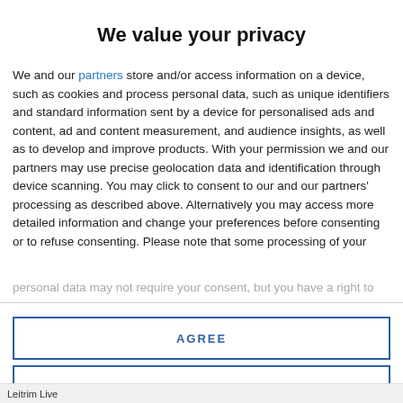We value your privacy
We and our partners store and/or access information on a device, such as cookies and process personal data, such as unique identifiers and standard information sent by a device for personalised ads and content, ad and content measurement, and audience insights, as well as to develop and improve products. With your permission we and our partners may use precise geolocation data and identification through device scanning. You may click to consent to our and our partners' processing as described above. Alternatively you may access more detailed information and change your preferences before consenting or to refuse consenting. Please note that some processing of your personal data may not require your consent, but you have a right to
AGREE
MORE OPTIONS
Leitrim Live